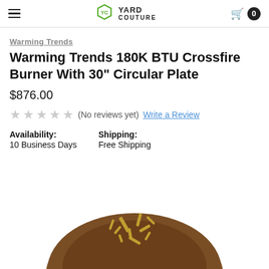Yard Couture — navigation header with hamburger menu, logo, and cart (0 items)
Warming Trends
Warming Trends 180K BTU Crossfire Burner With 30" Circular Plate
$876.00
★★★★★ (No reviews yet) Write a Review
Availability: 10 Business Days   Shipping: Free Shipping
[Figure (photo): Bottom portion of a circular copper/bronze fire pit plate with gold crossfire burner pattern visible at the top of the image]